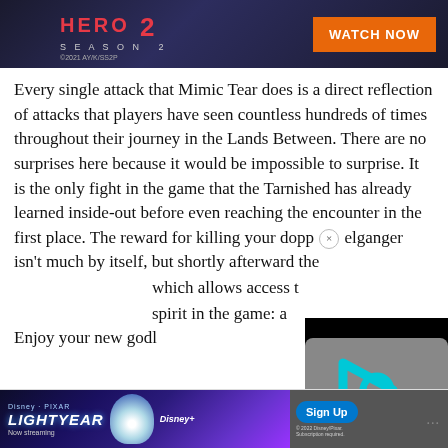[Figure (other): Advertisement banner for an animated series Season 2 with red title text and orange 'WATCH NOW' button, dark background with character imagery. Copyright 2021 AY/K/SS2P]
Every single attack that Mimic Tear does is a direct reflection of attacks that players have seen countless hundreds of times throughout their journey in the Lands Between. There are no surprises here because it would be impossible to surprise. It is the only fight in the game that the Tarnished has already learned inside-out before even reaching the encounter in the first place. The reward for killing your doppelganger isn't much by itself, but shortly afterward the [text obscured by video overlay] which allows access t[o] [text obscured] spirit in the game: a [text obscured]. Enjoy your new godl[ike power/companion].
[Figure (other): Video player overlay showing a cyan/teal play button icon (triangular arrow with a circle inside forming a stylized i/play symbol) on a gray and black background. Close button (×) visible at top.]
[Figure (other): Advertisement banner for Disney Pixar Lightyear movie, 'Now streaming' on Disney+, with Buzz Lightyear character image, Sign Up button, and Disney+ branding.]